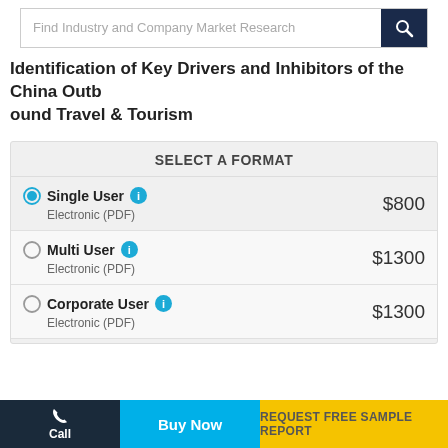Find Industry and Company Market Research
Identification of Key Drivers and Inhibitors of the China Outbound Travel & Tourism
SELECT A FORMAT
Single User — Electronic (PDF) — $800
Multi User — Electronic (PDF) — $1300
Corporate User — Electronic (PDF) — $1300
Call | Buy Now | REQUEST FREE SAMPLE REPORT